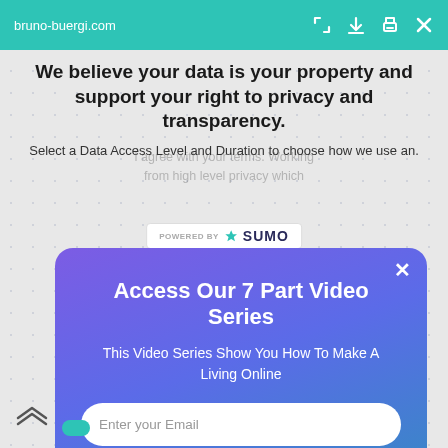bruno-buergi.com
We believe your data is your property and support your right to privacy and transparency.
Select a Data Access Level and Duration to choose how we use an.
[Figure (screenshot): Sumo 'POWERED BY' badge with crown logo]
[Figure (screenshot): Popup modal with gradient purple-blue background. Title: Access Our 7 Part Video Series. Description: This Video Series Show You How To Make A Living Online. Contains email input field, SUBSCRIBE NOW button, and NO THANKS link.]
Access Our 7 Part Video Series
This Video Series Show You How To Make A Living Online
Enter your Email
SUBSCRIBE NOW
NO THANKS